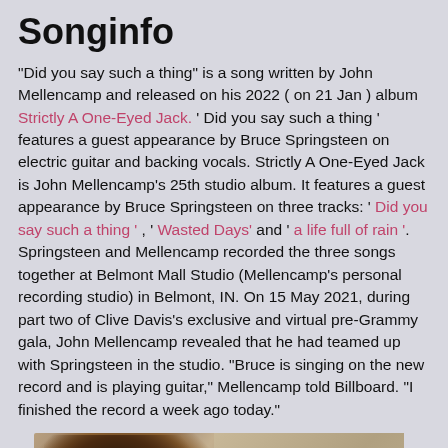Songinfo
"Did you say such a thing" is a song written by John Mellencamp and released on his 2022 ( on 21 Jan ) album Strictly A One-Eyed Jack. ' Did you say such a thing ' features a guest appearance by Bruce Springsteen on electric guitar and backing vocals. Strictly A One-Eyed Jack is John Mellencamp's 25th studio album. It features a guest appearance by Bruce Springsteen on three tracks: ' Did you say such a thing ' , ' Wasted Days' and ' a life full of rain '. Springsteen and Mellencamp recorded the three songs together at Belmont Mall Studio (Mellencamp's personal recording studio) in Belmont, IN. On 15 May 2021, during part two of Clive Davis's exclusive and virtual pre-Grammy gala, John Mellencamp revealed that he had teamed up with Springsteen in the studio. "Bruce is singing on the new record and is playing guitar," Mellencamp told Billboard. "I finished the record a week ago today."
[Figure (photo): Album cover of John Mellencamp's Strictly A One-Eyed Jack, showing a close-up of a person's head with dark curly hair, with album title text reading JOHN MELLENCAMP STRICTLY A ONE-EYED on a beige/tan background.]